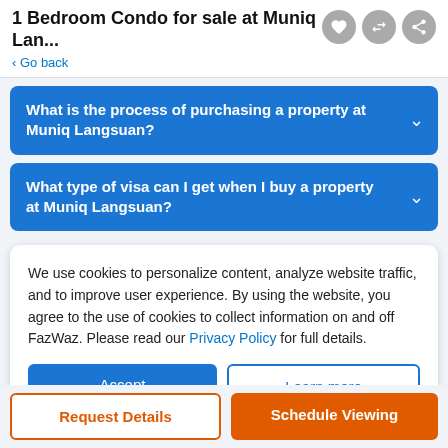1 Bedroom Condo for sale at Muniq Lan...
< Go back
What is the process of purchasing a property at Muniq Langsuan?
What type of visa can I get when I buy a property at Muniq Langsuan?
We use cookies to personalize content, analyze website traffic, and to improve user experience. By using the website, you agree to the use of cookies to collect information on and off FazWaz. Please read our Privacy Policy for full details.
Accept
Learn more
Request Details
Schedule Viewing